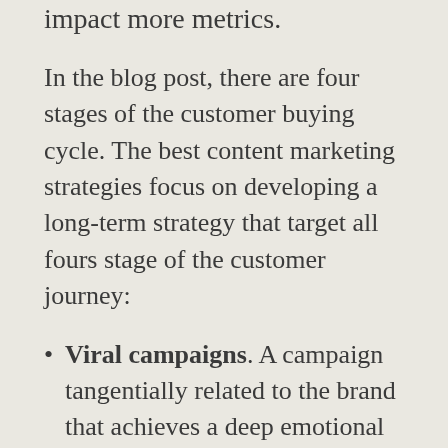impact more metrics.
In the blog post, there are four stages of the customer buying cycle. The best content marketing strategies focus on developing a long-term strategy that target all fours stage of the customer journey:
Viral campaigns. A campaign tangentially related to the brand that achieves a deep emotional reaction and thus encourages hockey stick levels of sharing and traffic.
Conversion-driven campaigns. These are targeted to a specific audience that is ready or almost ready to monetize.
Awareness campaigns. These are designed to increase exposure to the brand and attract